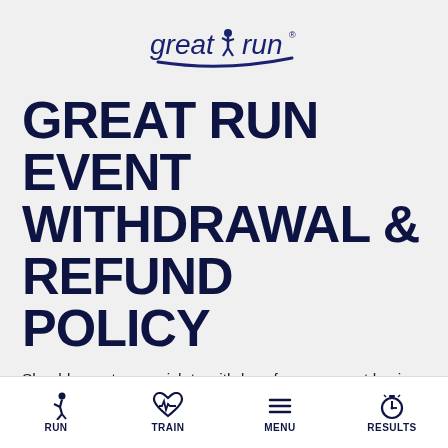[Figure (logo): Great Run logo with stylized running figure between 'great' and 'run' text in navy blue]
GREAT RUN EVENT WITHDRAWAL & REFUND POLICY
Should a customer wish to withdraw from an event having already entered and paid there are several options;
1. Medical Withdrawal
RUN  TRAIN  MENU  RESULTS